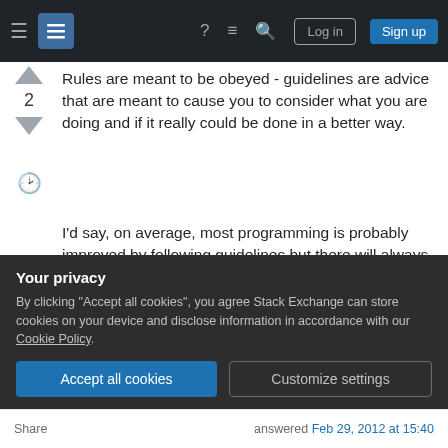Stack Exchange navigation bar with hamburger menu, logo, help, chat, search icons, Log in and Sign up buttons
Rules are meant to be obeyed - guidelines are advice that are meant to cause you to consider what you are doing and if it really could be done in a better way.
I'd say, on average, most programming is probably improved by following guidelines but there will always be cases where following the guidelines dogmatically will cause more problems than they were intended to resolve. That's why they are not presented as rules, but guidelines.
Your privacy
By clicking "Accept all cookies", you agree Stack Exchange can store cookies on your device and disclose information in accordance with our Cookie Policy.
Accept all cookies
Customize settings
Share    answered Feb 29, 2012 at 15:40